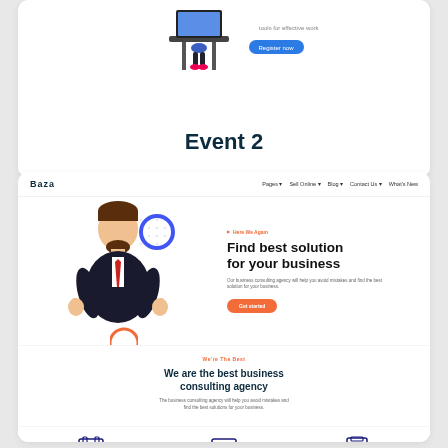[Figure (illustration): 3D character illustration at top of card, partially visible]
Event 2
[Figure (screenshot): Website screenshot showing a business consulting agency homepage with navigation bar (Baza brand), hero section with 3D business character giving thumbs up, heading 'Find best solution for your business', hero text and Get Started button, agency section 'We are the best business consulting agency', and three service cards: Finance and restructuring, Planning and strategy, Audit and assurance]
Find best solution for your business
Our business consulting agency will help you avoid mistakes and find the best solution for your business.
We are the best business consulting agency
The business consulting agency will help you avoid mistakes and find the best solutions for your business.
Finance and restructuring
Planning and strategy
Audit and assurance